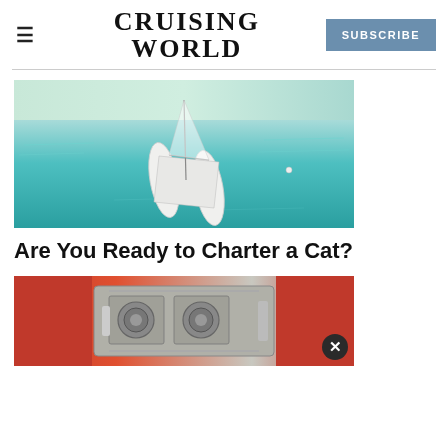CRUISING WORLD
[Figure (photo): Aerial view of a white catamaran sailing on clear turquoise water]
Are You Ready to Charter a Cat?
[Figure (photo): Close-up photo of a marine engine or mechanical equipment with red and metallic tones]